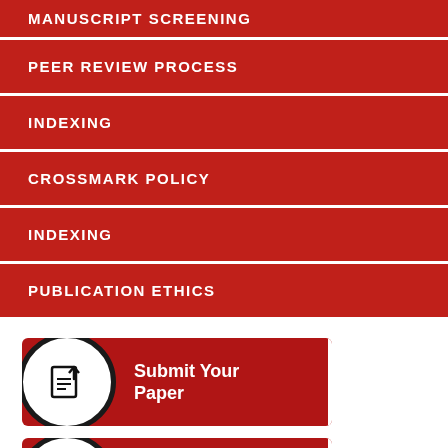MANUSCRIPT SCREENING
PEER REVIEW PROCESS
INDEXING
CROSSMARK POLICY
INDEXING
PUBLICATION ETHICS
[Figure (infographic): Red button with circular icon showing a document upload arrow, labeled 'Submit Your Paper']
[Figure (infographic): Red button with circular icon showing a clipboard checklist, labeled 'Author Guidelines']